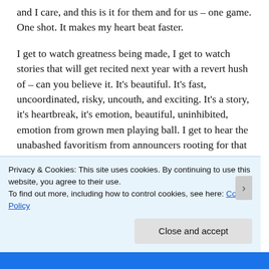and I care, and this is it for them and for us – one game. One shot. It makes my heart beat faster.
I get to watch greatness being made, I get to watch stories that will get recited next year with a revert hush of – can you believe it. It's beautiful. It's fast, uncoordinated, risky, uncouth, and exciting. It's a story, it's heartbreak, it's emotion, beautiful, uninhibited, emotion from grown men playing ball. I get to hear the unabashed favoritism from announcers rooting for that last minute upset. I'll have something to talk about after this. I watch every year. And for about a month I have something to talk to my Dad about. I know exactly what I can say to start a conversation with him without any
Privacy & Cookies: This site uses cookies. By continuing to use this website, you agree to their use.
To find out more, including how to control cookies, see here: Cookie Policy